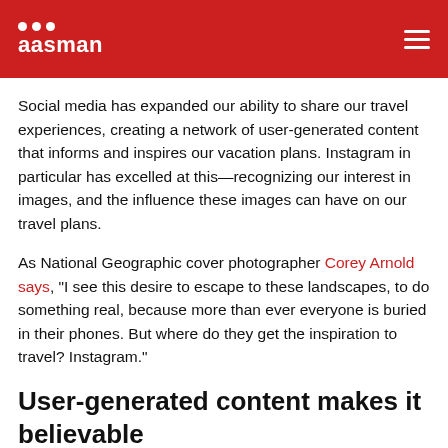aasman
Social media has expanded our ability to share our travel experiences, creating a network of user-generated content that informs and inspires our vacation plans. Instagram in particular has excelled at this—recognizing our interest in images, and the influence these images can have on our travel plans.
As National Geographic cover photographer Corey Arnold says, "I see this desire to escape to these landscapes, to do something real, because more than ever everyone is buried in their phones. But where do they get the inspiration to travel? Instagram."
User-generated content makes it believable
The tourism industry has tapped into this trend, using tourists' social activity for their own campaigns and social media channels. It is a smart and effective